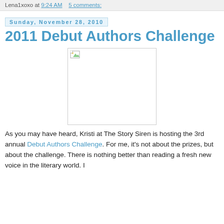Lena1xoxo at 9:24 AM   5 comments:
Sunday, November 28, 2010
2011 Debut Authors Challenge
[Figure (photo): Broken image placeholder for 2011 Debut Authors Challenge]
As you may have heard, Kristi at The Story Siren is hosting the 3rd annual Debut Authors Challenge. For me, it's not about the prizes, but about the challenge. There is nothing better than reading a fresh new voice in the literary world. I participated last year, and definitely participating again